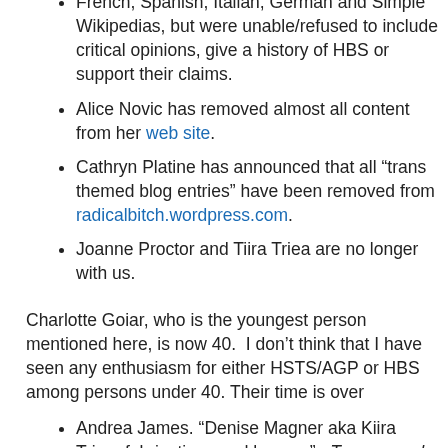French, Spanish, Italian, German and Simple Wikipedias, but were unable/refused to include critical opinions, give a history of HBS or support their claims.
Alice Novic has removed almost all content from her web site.
Cathryn Platine has announced that all “trans themed blog entries” have been removed from radicalbitch.wordpress.com.
Joanne Proctor and Tiira Triea are no longer with us.
Charlotte Goiar, who is the youngest person mentioned here, is now 40.  I don’t think that I have seen any enthusiasm for either HSTS/AGP or HBS among persons under 40. Their time is over
Andrea James. “Denise Magner aka Kiira Triea: fabrications and hoaxes”.  Transsexual Road Map, 12 November 2012. www.tsroadmap.com/info/transkids/denise-